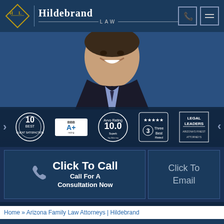[Figure (logo): Hildebrand Law firm logo with diamond HL monogram and firm name]
[Figure (photo): Portrait photo of smiling male attorney in dark suit against blue background, with award badge carousel overlay]
Click To Call
Call For A Consultation Now
Click To Email
Home » Arizona Family Law Attorneys | Hildebrand